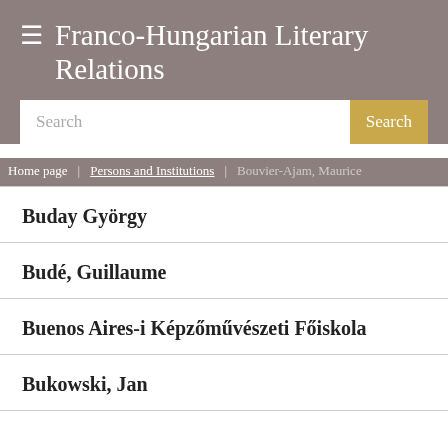Franco-Hungarian Literary Relations
Search
Home page / Persons and Institutions / Bouvier-Ajam, Maurice
Buday György
Budé, Guillaume
Buenos Aires-i Képzőművészeti Főiskola
Bukowski, Jan